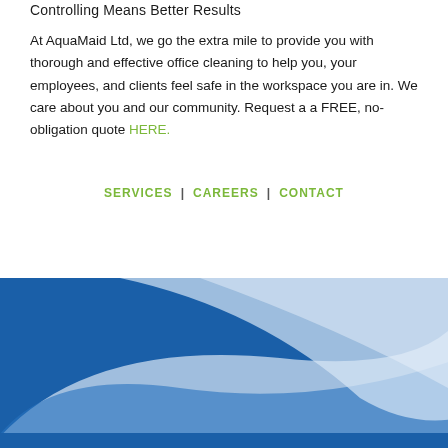Controlling Means Better Results
At AquaMaid Ltd, we go the extra mile to provide you with thorough and effective office cleaning to help you, your employees, and clients feel safe in the workspace you are in. We care about you and our community. Request a a FREE, no-obligation quote HERE.
SERVICES | CAREERS | CONTACT
[Figure (illustration): Abstract blue curved shapes forming a swoosh or wave design, with dark blue and light blue/white gradient colors filling the bottom portion of the page.]